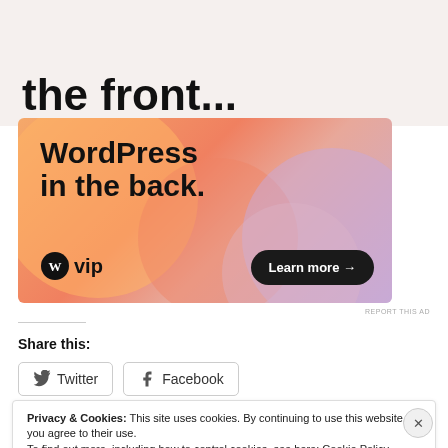Business in the front...
[Figure (illustration): WordPress VIP advertisement with colorful gradient bubbles background. Text reads 'WordPress in the back.' with WordPress VIP logo and 'Learn more →' button.]
REPORT THIS AD
Share this:
Twitter
Facebook
Privacy & Cookies: This site uses cookies. By continuing to use this website, you agree to their use. To find out more, including how to control cookies, see here: Cookie Policy
Close and accept